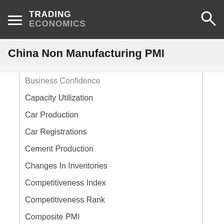TRADING ECONOMICS
China Non Manufacturing PMI
Business Confidence
Capacity Utilization
Car Production
Car Registrations
Cement Production
Changes In Inventories
Competitiveness Index
Competitiveness Rank
Composite PMI
Corporate Profits
Corruption Index
Corruption Rank
Ease Of Doing Business
Electricity Production
Industrial Production
Industrial Production Mom
Industrial Profits
Internet Speed